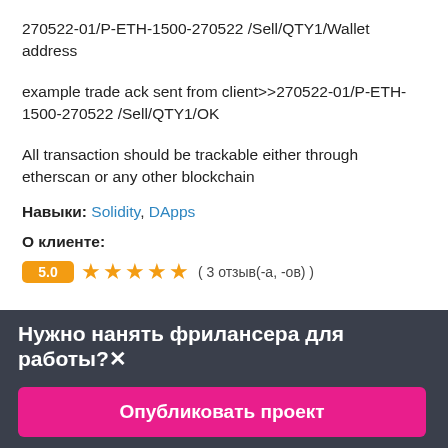270522-01/P-ETH-1500-270522 /Sell/QTY1/Wallet address
example trade ack sent from client>>270522-01/P-ETH-1500-270522 /Sell/QTY1/OK
All transaction should be trackable either through etherscan or any other blockchain
Навыки: Solidity, DApps
О клиенте:
5.0 ★★★★★ ( 3 отзыв(-а, -ов) )
Нужно нанять фрилансера для работы?×
Опубликовать проект